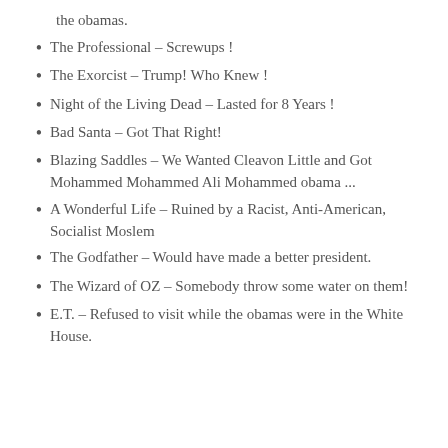the obamas.
The Professional – Screwups !
The Exorcist – Trump! Who Knew !
Night of the Living Dead – Lasted for 8 Years !
Bad Santa – Got That Right!
Blazing Saddles – We Wanted Cleavon Little and Got Mohammed Mohammed Ali Mohammed obama ...
A Wonderful Life – Ruined by a Racist, Anti-American, Socialist Moslem
The Godfather – Would have made a better president.
The Wizard of OZ – Somebody throw some water on them!
E.T. – Refused to visit while the obamas were in the White House.